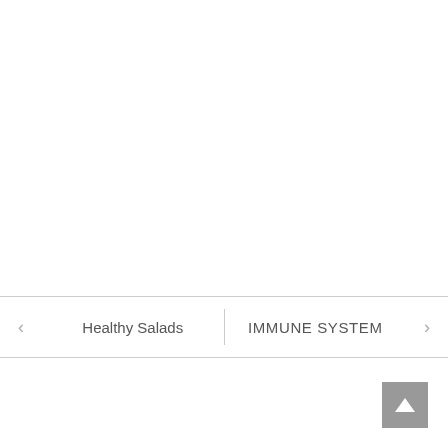[Figure (screenshot): Navigation bar with left arrow, 'Healthy Salads' text, vertical divider, 'IMMUNE SYSTEM' text, and right arrow]
[Figure (screenshot): User profile card with grey avatar placeholder icon and bold username 'drasjad drasjad']
drasjad drasjad